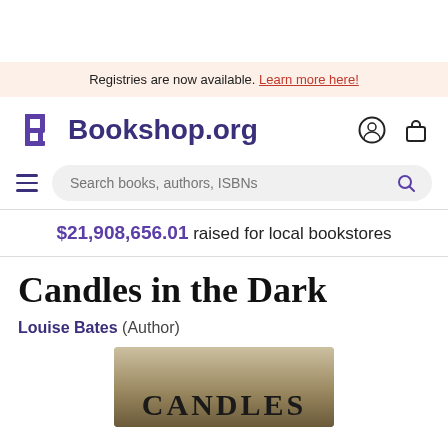Registries are now available. Learn more here!
Bookshop.org
Search books, authors, ISBNs
$21,908,656.01 raised for local bookstores
Candles in the Dark
Louise Bates (Author)
[Figure (photo): Book cover showing 'CANDLES' text at the bottom, with a warm tan/sepia toned background]